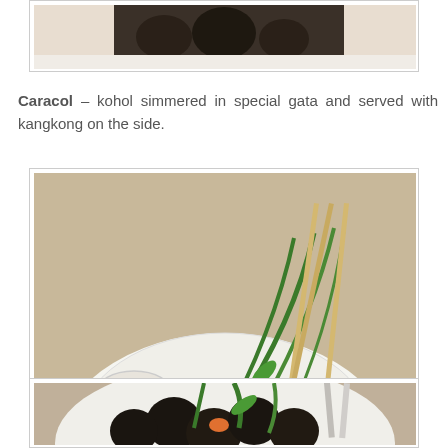[Figure (photo): Top portion of a food photo showing dark-colored dish on a white plate, partially visible at top of page]
Caracol – kohol simmered in special gata and served with kangkong on the side.
[Figure (photo): Photo of caracol dish: dark snails (kohol) with green kangkong water spinach in a white bowl, with a spoon and bamboo skewers visible]
[Figure (photo): Second photo of caracol dish: dark snails with green kangkong in a white bowl with tongs, partially cropped at bottom of page]